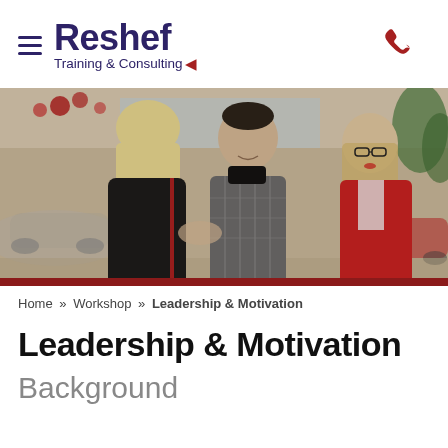Reshef Training & Consulting
[Figure (photo): Three people in a car showroom or business setting: a blonde woman in black with red trim facing away, a man in a grey plaid blazer shaking hands with her, and a woman in a red blazer with glasses standing beside them. Christmas decorations visible.]
Home » Workshop » Leadership & Motivation
Leadership & Motivation
Background